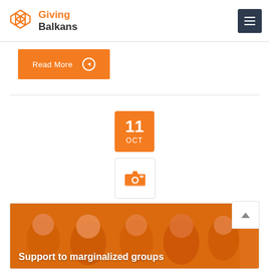Giving Balkans
Read More
[Figure (other): Orange date badge showing '11 OCT']
[Figure (other): Camera icon in a bordered box]
[Figure (photo): Photo of people with orange overlay, titled 'Support to marginalized groups']
Support to marginalized groups